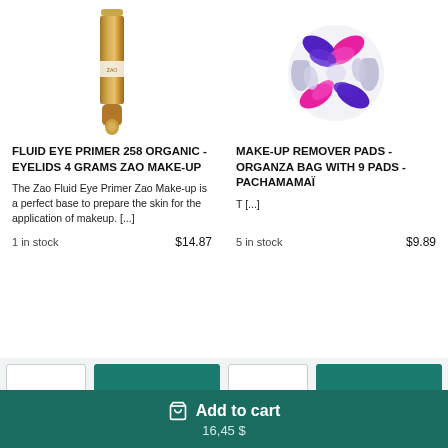[Figure (photo): Product photo of Fluid Eye Primer 258 Organic - a slim gold/wood-toned cylindrical tube]
[Figure (photo): Product photo of Make-up Remover Pads in an organza bag - colorful swirled circular pads in magenta, purple, and white]
FLUID EYE PRIMER 258 ORGANIC - EYELIDS 4 GRAMS ZAO MAKE-UP
MAKE-UP REMOVER PADS - ORGANZA BAG WITH 9 PADS - PACHAMAMAÏ
The Zao Fluid Eye Primer Zao Make-up is a perfect base to prepare the skin for the application of makeup. [...]
T [...]
1 in stock
$14.87
5 in stock
$9.89
🛒 Add to cart
16,45 $